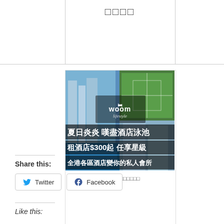□□□□
[Figure (photo): Woom Lifestyle advertisement showing hotel pool and facilities. Text on image: 夏日炎炎 嘆盡酒店泳池, 租酒店$300起 任享星級, 全港各區酒店變你的私人會所]
□□□□□□□□□□ □□□□□□□□□□□
Share this:
Twitter
Facebook
Like this: